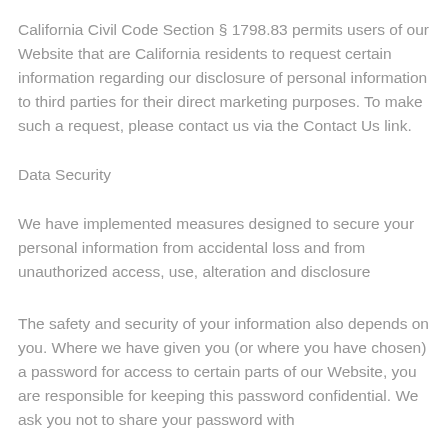California Civil Code Section § 1798.83 permits users of our Website that are California residents to request certain information regarding our disclosure of personal information to third parties for their direct marketing purposes. To make such a request, please contact us via the Contact Us link.
Data Security
We have implemented measures designed to secure your personal information from accidental loss and from unauthorized access, use, alteration and disclosure
The safety and security of your information also depends on you. Where we have given you (or where you have chosen) a password for access to certain parts of our Website, you are responsible for keeping this password confidential. We ask you not to share your password with